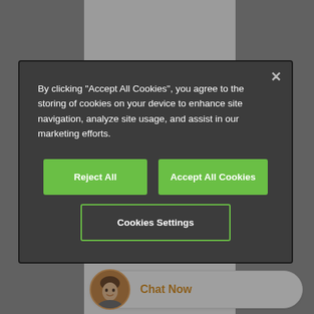[Figure (screenshot): Background page with gray overlay and white content column showing a ceramic/PTFE component product page]
By clicking "Accept All Cookies", you agree to the storing of cookies on your device to enhance site navigation, analyze site usage, and assist in our marketing efforts.
Reject All
Accept All Cookies
Cookies Settings
[Figure (photo): White ceramic or PTFE low friction component, resembling a small spool or bushing, photographed against light background]
Low coefficient of friction
Low moisture absorption
Quiet
Chat Now